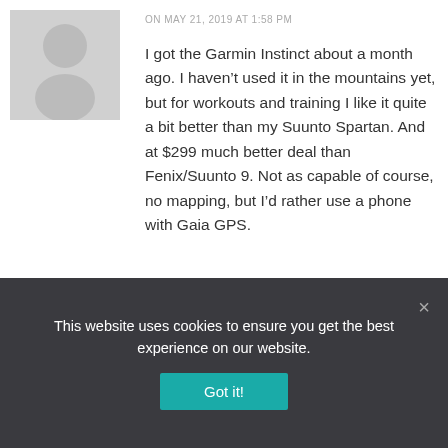[Figure (illustration): Generic user avatar icon — grey square with white person silhouette]
ON MAY 21, 2019 AT 1:58 PM
I got the Garmin Instinct about a month ago. I haven’t used it in the mountains yet, but for workouts and training I like it quite a bit better than my Suunto Spartan. And at $299 much better deal than Fenix/Suunto 9. Not as capable of course, no mapping, but I’d rather use a phone with Gaia GPS.
[Figure (illustration): Generic user avatar icon — grey square with white person silhouette, partially visible]
This website uses cookies to ensure you get the best experience on our website.